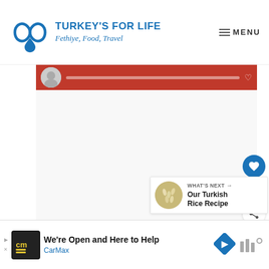TURKEY'S FOR LIFE — Fethiye, Food, Travel
[Figure (screenshot): Website screenshot showing Turkey's For Life blog header with logo, site name, tagline 'Fethiye, Food, Travel', and MENU button. Below header is a red banner strip with avatar and content bar. Main content area is blank/white. Right side has a blue heart/like button, count of 8, and share button. A 'What's Next' card shows 'Our Turkish Rice Recipe'. Bottom has a CarMax advertisement.]
8
WHAT'S NEXT →
Our Turkish Rice Recipe
We're Open and Here to Help
CarMax